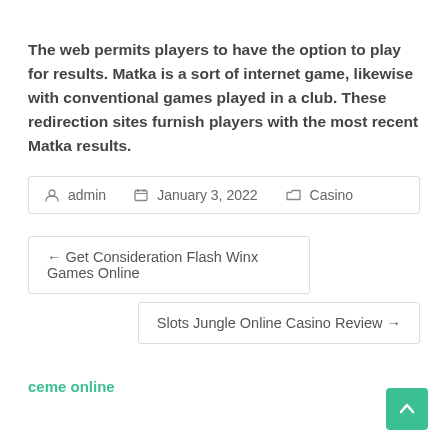The web permits players to have the option to play for results. Matka is a sort of internet game, likewise with conventional games played in a club. These redirection sites furnish players with the most recent Matka results.
admin  January 3, 2022  Casino
← Get Consideration Flash Winx Games Online
Slots Jungle Online Casino Review →
ceme online